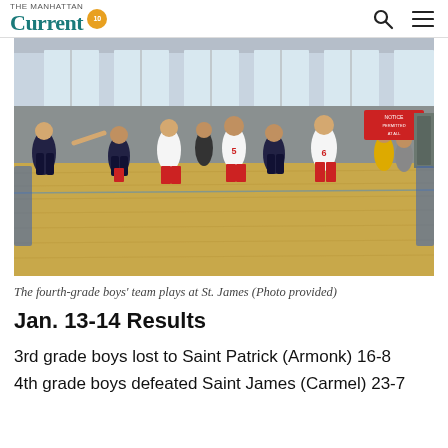The Current
[Figure (photo): Fourth-grade boys' basketball team playing on an indoor court at St. James. Players in red/white and navy uniforms. Basketball gym with wooden floor and large windows in background.]
The fourth-grade boys' team plays at St. James (Photo provided)
Jan. 13-14 Results
3rd grade boys lost to Saint Patrick (Armonk) 16-8
4th grade boys defeated Saint James (Carmel) 23-7